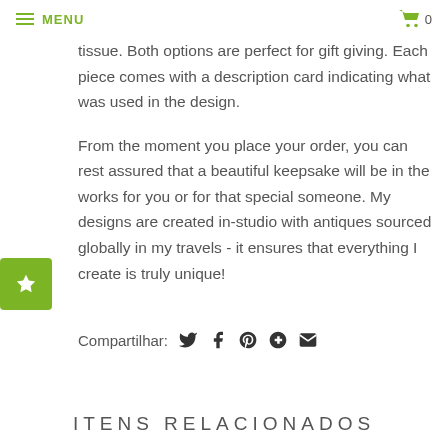MENU  🛒 0
tissue. Both options are perfect for gift giving. Each piece comes with a description card indicating what was used in the design.
From the moment you place your order, you can rest assured that a beautiful keepsake will be in the works for you or for that special someone. My designs are created in-studio with antiques sourced globally in my travels - it ensures that everything I create is truly unique!
Compartilhar:
ITENS RELACIONADOS